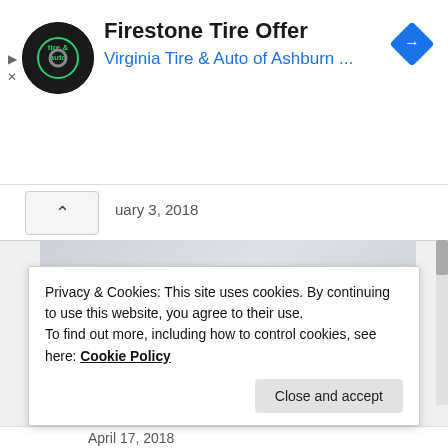[Figure (screenshot): Ad banner for Firestone Tire Offer from Virginia Tire & Auto of Ashburn with logo and navigation icon]
uary 3, 2018
[Figure (photo): TensorFlow logo photo showing orange 3D F-shaped logo with rFlow text on light background]
Privacy & Cookies: This site uses cookies. By continuing to use this website, you agree to their use.
To find out more, including how to control cookies, see here: Cookie Policy
Close and accept
April 17, 2018